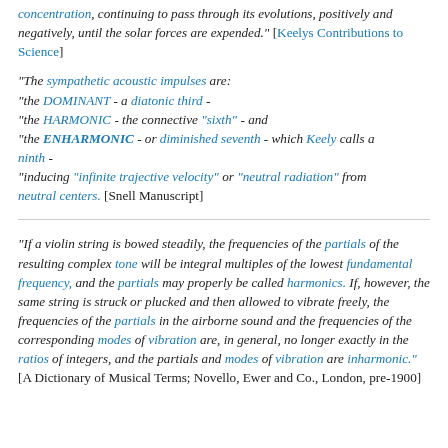concentration, continuing to pass through its evolutions, positively and negatively, until the solar forces are expended." [Keelys Contributions to Science]
"The sympathetic acoustic impulses are: "the DOMINANT - a diatonic third - "the HARMONIC - the connective "sixth" - and "the ENHARMONIC - or diminished seventh - which Keely calls a ninth - "inducing "infinite trajective velocity" or "neutral radiation" from neutral centers. [Snell Manuscript]
"If a violin string is bowed steadily, the frequencies of the partials of the resulting complex tone will be integral multiples of the lowest fundamental frequency, and the partials may properly be called harmonics. If, however, the same string is struck or plucked and then allowed to vibrate freely, the frequencies of the partials in the airborne sound and the frequencies of the corresponding modes of vibration are, in general, no longer exactly in the ratios of integers, and the partials and modes of vibration are inharmonic." [A Dictionary of Musical Terms; Novello, Ewer and Co., London, pre-1900]